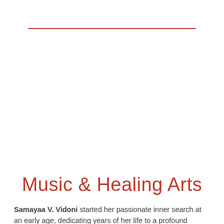Music & Healing Arts
Samayaa V. Vidoni started her passionate inner search at an early age, dedicating years of her life to a profound analysis